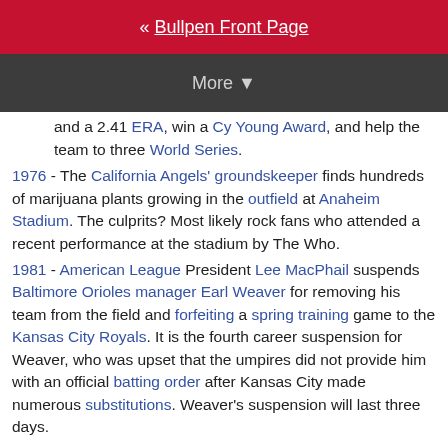« Bullpen Front Page
More ▼
and a 2.41 ERA, win a Cy Young Award, and help the team to three World Series.
1976 - The California Angels' groundskeeper finds hundreds of marijuana plants growing in the outfield at Anaheim Stadium. The culprits? Most likely rock fans who attended a recent performance at the stadium by The Who.
1981 - American League President Lee MacPhail suspends Baltimore Orioles manager Earl Weaver for removing his team from the field and forfeiting a spring training game to the Kansas City Royals. It is the fourth career suspension for Weaver, who was upset that the umpires did not provide him with an official batting order after Kansas City made numerous substitutions. Weaver's suspension will last three days.
1990 - Major league umpires announce that they will boycott exhibition games to protest not having been consulted in the revision of the regular season schedule after the lockout. They will